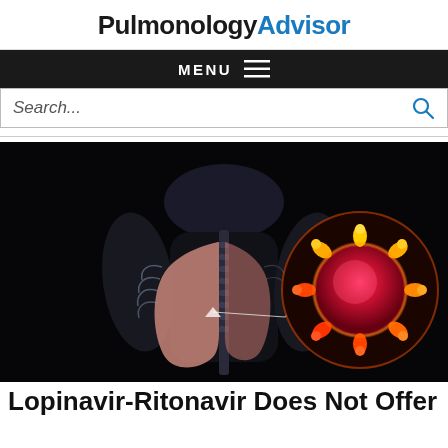PulmonologyAdvisor
MENU ≡
Search...
[Figure (illustration): Medical illustration showing a human torso with lungs visible in x-ray style, with a circular zoom-in inset showing a coronavirus particle in orange/red/yellow colors against a dark background.]
Lopinavir-Ritonavir Does Not Offer